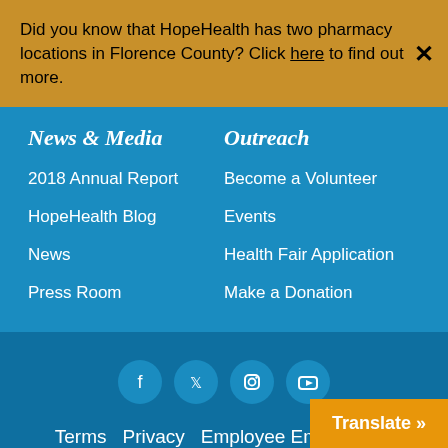Did you know that HopeHealth has two pharmacy locations in Florence County? Click here to find out more.
News & Media
2018 Annual Report
HopeHealth Blog
News
Press Room
Outreach
Become a Volunteer
Events
Health Fair Application
Make a Donation
Terms  Privacy  Employee Email  ADP
Translate »